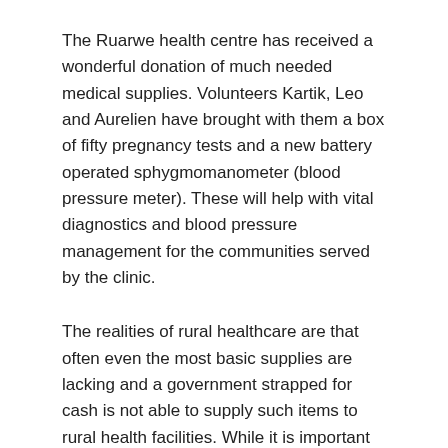The Ruarwe health centre has received a wonderful donation of much needed medical supplies. Volunteers Kartik, Leo and Aurelien have brought with them a box of fifty pregnancy tests and a new battery operated sphygmomanometer (blood pressure meter). These will help with vital diagnostics and blood pressure management for the communities served by the clinic.
The realities of rural healthcare are that often even the most basic supplies are lacking and a government strapped for cash is not able to supply such items to rural health facilities. While it is important that Phunzira does not take over the role of the government in providing supplies for the clinic, it is a delight when one-off donations such as this can make a real difference on the ground in diagnostics and treatment. With such a large part of the population visiting the clinic